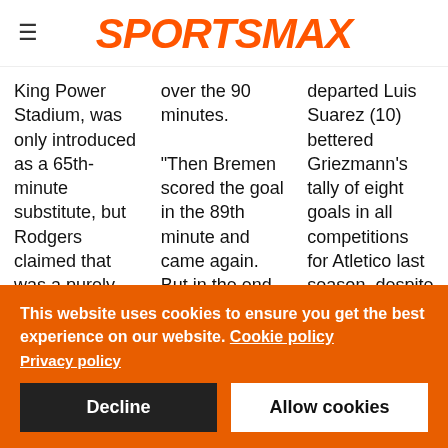SPORTSMAX
King Power Stadium, was only introduced as a 65th-minute substitute, but Rodgers claimed that was a purely strategic decision.

"Youri, it was a
over the 90 minutes.

"Then Bremen scored the goal in the 89th minute and came again. But in the end we just didn't play well
departed Luis Suarez (10) bettered Griezmann's tally of eight goals in all competitions for Atletico last season, despite the France forward
This website uses cookies to ensure you get the best experience on our website. Cookie policy
Privacy policy